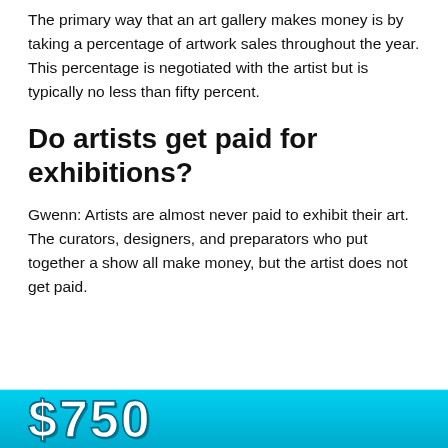The primary way that an art gallery makes money is by taking a percentage of artwork sales throughout the year. This percentage is negotiated with the artist but is typically no less than fifty percent.
Do artists get paid for exhibitions?
Gwenn: Artists are almost never paid to exhibit their art. The curators, designers, and preparators who put together a show all make money, but the artist does not get paid.
[Figure (other): Banner with large stylized text '$750' or similar dollar amount on a cyan/blue gradient background]